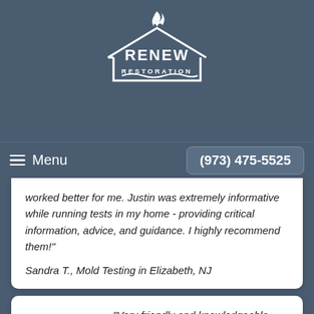[Figure (logo): Renew Restoration logo — white house outline with flame and water waves, text RENEW RESTORATION]
Menu    (973) 475-5525
worked better for me. Justin was extremely informative while running tests in my home - providing critical information, advice, and guidance. I highly recommend them!"
Sandra T., Mold Testing in Elizabeth, NJ
★★★★★ - "Very friendly and knowledgeable experts."
Stephanie Z., Mold Testing in Vernon, NJ